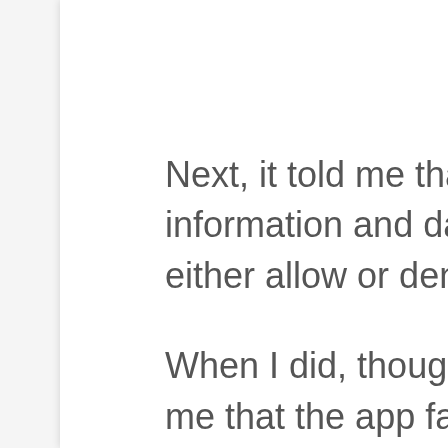Next, it told me that it wanted to view my activity information and data in Google Fit. I had the option to either allow or deny this function, so I denied it.
When I did, though, it gave me a message that told me that the app failed to connect to Google Play services, and wouldn't work. So I went ahead and retried, chose my Google account, and this time allowed it to view my Google Fit data.